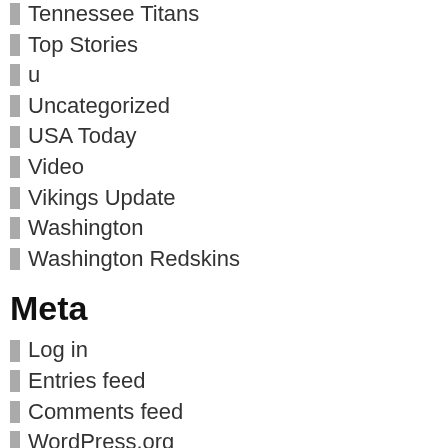Tennessee Titans
Top Stories
u
Uncategorized
USA Today
Video
Vikings Update
Washington
Washington Redskins
Meta
Log in
Entries feed
Comments feed
WordPress.org
[Figure (other): 1500 espn twin cities vikings sportswire image placeholder]
[Figure (other): kfan sports radio - official vikings station image placeholder]
[Figure (other): minnesota vikings web site image placeholder]
IngsSinceSamBradfordwasp l